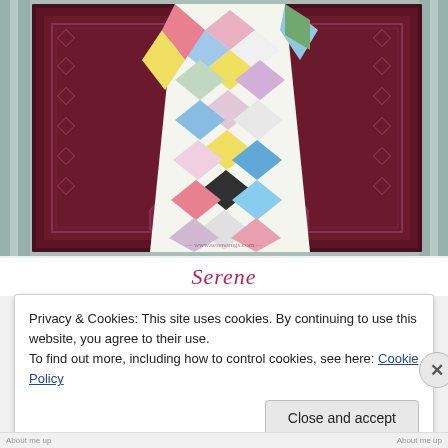[Figure (photo): Photograph of two rugs overlapping: a dark red/maroon traditional patterned rug with geometric designs, and a colorful harlequin/diamond-pattern runner placed on top, showing multicolored diamond shapes in pink, blue, yellow, green, black, white, and other colors. The rugs are displayed against a light teal/green striped background.]
Serene
Privacy & Cookies: This site uses cookies. By continuing to use this website, you agree to their use.
To find out more, including how to control cookies, see here: Cookie Policy